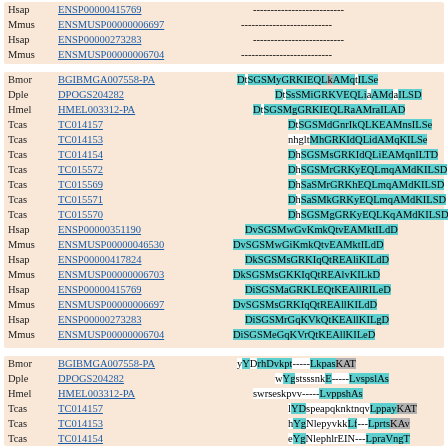[Figure (other): Multiple sequence alignment showing protein sequences from various species (Hsap, Mmus, Bmor, Dple, Hmel, Tcas) with accession IDs and colored alignment blocks. Three alignment blocks are shown: first with dashes only, second with conserved sequence regions highlighted in cyan and gray, and third with partial sequences and gaps.]